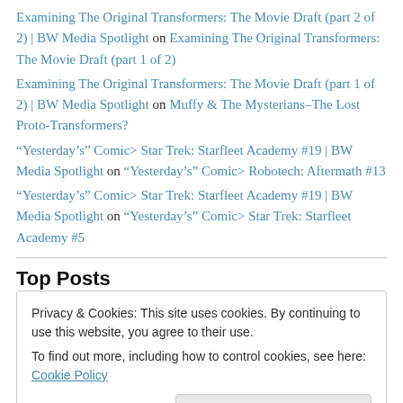Examining The Original Transformers: The Movie Draft (part 2 of 2) | BW Media Spotlight on Examining The Original Transformers: The Movie Draft (part 1 of 2)
Examining The Original Transformers: The Movie Draft (part 1 of 2) | BW Media Spotlight on Muffy & The Mysterians–The Lost Proto-Transformers?
“Yesterday’s” Comic> Star Trek: Starfleet Academy #19 | BW Media Spotlight on “Yesterday’s” Comic> Robotech: Aftermath #13
“Yesterday’s” Comic> Star Trek: Starfleet Academy #19 | BW Media Spotlight on “Yesterday’s” Comic> Star Trek: Starfleet Academy #5
Top Posts
Privacy & Cookies: This site uses cookies. By continuing to use this website, you agree to their use.
To find out more, including how to control cookies, see here: Cookie Policy
Close and accept